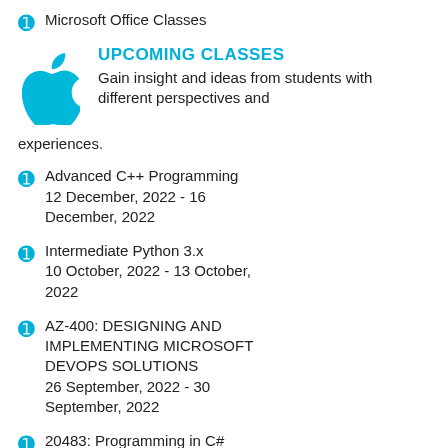Microsoft Office Classes
[Figure (logo): Apple logo in cyan/blue color]
UPCOMING CLASSES
Gain insight and ideas from students with different perspectives and experiences.
Advanced C++ Programming 12 December, 2022 - 16 December, 2022
Intermediate Python 3.x 10 October, 2022 - 13 October, 2022
AZ-400: DESIGNING AND IMPLEMENTING MICROSOFT DEVOPS SOLUTIONS 26 September, 2022 - 30 September, 2022
20483: Programming in C# 5 December, 2022 - 9 December